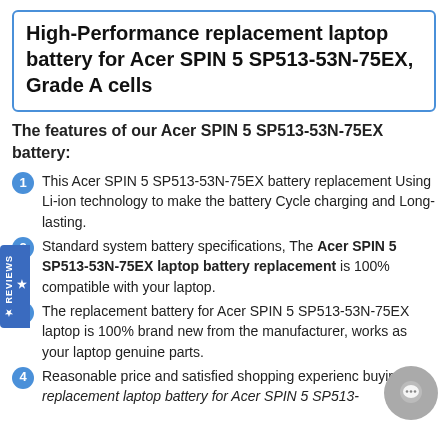High-Performance replacement laptop battery for Acer SPIN 5 SP513-53N-75EX, Grade A cells
The features of our Acer SPIN 5 SP513-53N-75EX battery:
This Acer SPIN 5 SP513-53N-75EX battery replacement Using Li-ion technology to make the battery Cycle charging and Long-lasting.
Standard system battery specifications, The Acer SPIN 5 SP513-53N-75EX laptop battery replacement is 100% compatible with your laptop.
The replacement battery for Acer SPIN 5 SP513-53N-75EX laptop is 100% brand new from the manufacturer, works as your laptop genuine parts.
Reasonable price and satisfied shopping experience buying the replacement laptop battery for Acer SPIN 5 SP513-